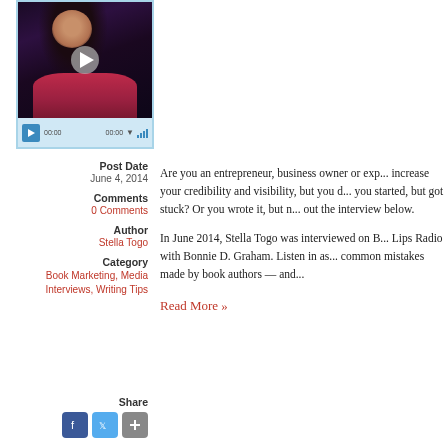[Figure (screenshot): Video player with thumbnail showing a woman in a red dress with dark hair, purple flowers in background. Blue-bordered player with playback controls showing 00:00 timestamps and signal bars.]
Post Date
June 4, 2014
Comments
0 Comments
Author
Stella Togo
Category
Book Marketing, Media Interviews, Writing Tips
Share
Are you an entrepreneur, business owner or exp... increase your credibility and visibility, but you d... you started, but got stuck? Or you wrote it, but n... out the interview below.
In June 2014, Stella Togo was interviewed on B... Lips Radio with Bonnie D. Graham. Listen in as... common mistakes made by book authors — and...
Read More »